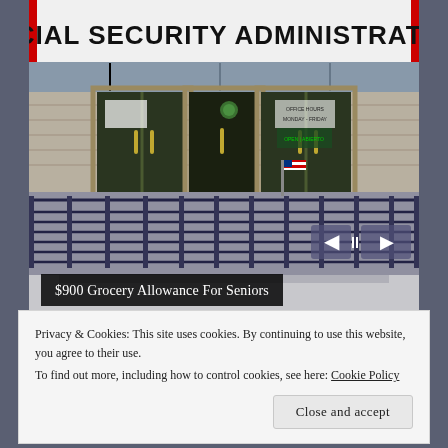[Figure (photo): Exterior of a Social Security Administration office building, showing the entrance with glass doors, metal railings/ramp, and a sign reading 'SOCIAL SECURITY ADMINISTRATION' above the entrance. A carousel navigation overlay with left/right arrows is visible.]
$900 Grocery Allowance For Seniors
Privacy & Cookies: This site uses cookies. By continuing to use this website, you agree to their use.
To find out more, including how to control cookies, see here: Cookie Policy